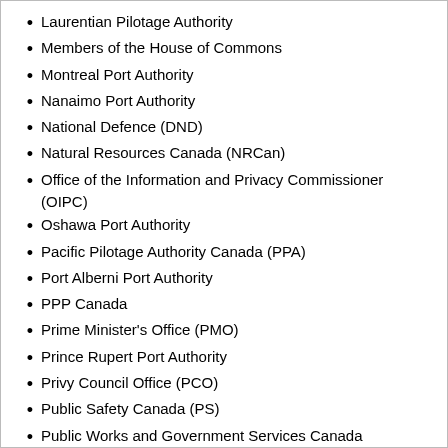Laurentian Pilotage Authority
Members of the House of Commons
Montreal Port Authority
Nanaimo Port Authority
National Defence (DND)
Natural Resources Canada (NRCan)
Office of the Information and Privacy Commissioner (OIPC)
Oshawa Port Authority
Pacific Pilotage Authority Canada (PPA)
Port Alberni Port Authority
PPP Canada
Prime Minister's Office (PMO)
Prince Rupert Port Authority
Privy Council Office (PCO)
Public Safety Canada (PS)
Public Works and Government Services Canada
Quebec Port Authority
Saguenay Port Authority